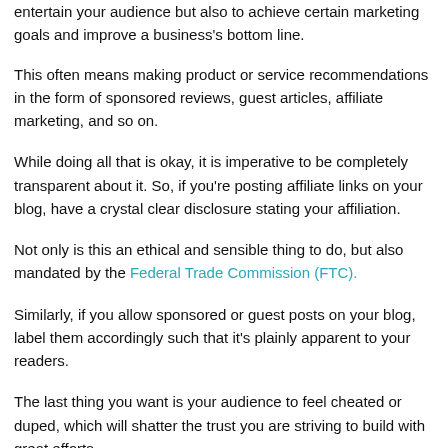entertain your audience but also to achieve certain marketing goals and improve a business's bottom line.
This often means making product or service recommendations in the form of sponsored reviews, guest articles, affiliate marketing, and so on.
While doing all that is okay, it is imperative to be completely transparent about it. So, if you're posting affiliate links on your blog, have a crystal clear disclosure stating your affiliation.
Not only is this an ethical and sensible thing to do, but also mandated by the Federal Trade Commission (FTC).
Similarly, if you allow sponsored or guest posts on your blog, label them accordingly such that it's plainly apparent to your readers.
The last thing you want is your audience to feel cheated or duped, which will shatter the trust you are striving to build with great efforts.